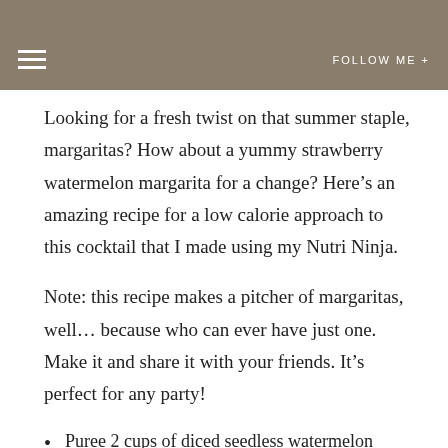FOLLOW ME +
Looking for a fresh twist on that summer staple, margaritas? How about a yummy strawberry watermelon margarita for a change? Here’s an amazing recipe for a low calorie approach to this cocktail that I made using my Nutri Ninja.
Note: this recipe makes a pitcher of margaritas, well… because who can ever have just one. Make it and share it with your friends. It’s perfect for any party!
Puree 2 cups of diced seedless watermelon
Puree 2 cups sliced strawberries (strain those pesky little seeds)
1 cup your favorite white Tequila